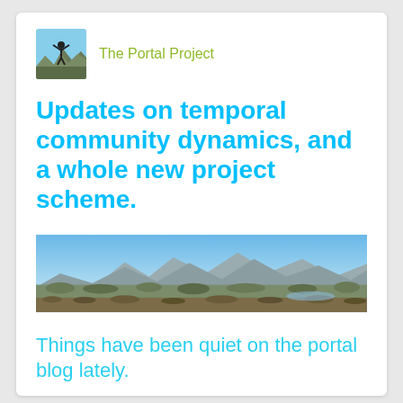[Figure (photo): Small square avatar photo showing a person with arms raised on a mountain peak against a blue sky]
The Portal Project
Updates on temporal community dynamics, and a whole new project scheme.
[Figure (photo): Wide panoramic landscape photo showing a desert scrubland scene with mountains and blue sky in the background]
Things have been quiet on the portal blog lately.